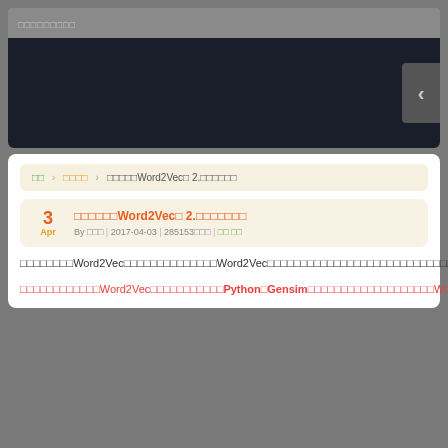□□□□□□□□□
[Figure (screenshot): Dark navy banner/slider area with a left-pointing arrow navigation button on the right side]
□□ □□□□ □□□□□Word2Vec□ 2.□□□□□□
□□□□□□Word2Vec□ 2.□□□□□□□
By □□□ | 2017-04-03 | 285153□□□ | □□ □□
□□□□□□□□Word2Vec□□□□□□□□□□□□□□Word2Vec□□□□□□□□□□□□□□□□□□□□□□□□□□□□□□□□□□□□□□□□□□□Gensim□□□□□□□□□□□□□□□□□□□□□□Word2Vec□□□□□□□□□□□□□□□□□□□□□□□□□□□□□□□
□□□□□□□□□□□□Word2Vec□□□□□□□□□□□Python□Gensim□□□□□□□□□□□□□□□□□□□Word2Vec□□□□□□□□□□□□□□□□□□□□